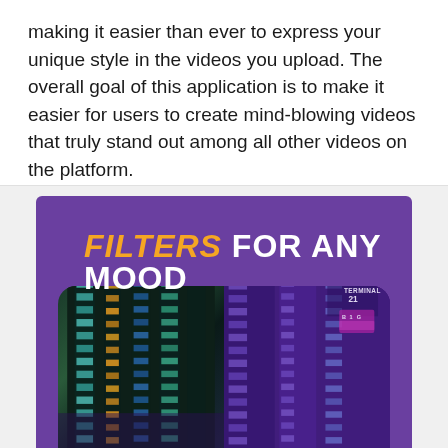making it easier than ever to express your unique style in the videos you upload. The overall goal of this application is to make it easier for users to create mind-blowing videos that truly stand out among all other videos on the platform.
[Figure (illustration): Promotional graphic with purple background showing 'FILTERS FOR ANY MOOD' headline text (FILTERS in orange/italic, FOR ANY MOOD in white). Below is a split image showing a city building at night: left half in natural colors (teal/green lighting on glass building), right half with purple filter applied (same building with purple/violet color grading). Terminal 21 sign visible on right side.]